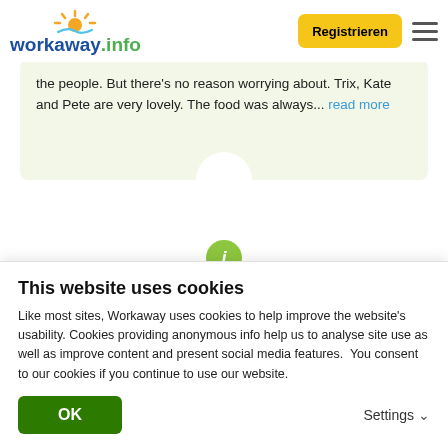[Figure (logo): workaway.info logo with sun icon]
Registrieren
the people. But there's no reason worrying about. Trix, Kate and Pete are very lovely. The food was always... read more
[Figure (other): Green info icon circle with letter i, followed by 5 gold stars rating]
(Ausgezeichnet )
05.01.2020
This website uses cookies
Like most sites, Workaway uses cookies to help improve the website's usability. Cookies providing anonymous info help us to analyse site use as well as improve content and present social media features.  You consent to our cookies if you continue to use our website.
OK
Settings